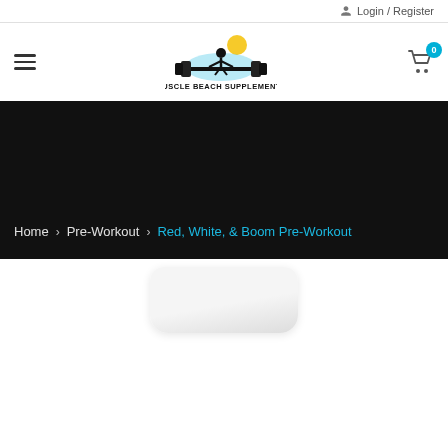Login / Register
[Figure (logo): Muscle Beach Supplements logo with barbell and character graphic]
Home > Pre-Workout > Red, White, & Boom Pre-Workout
[Figure (photo): White supplement tub product image at bottom of page]